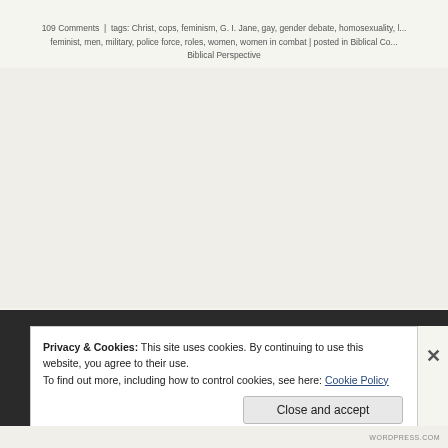109 Comments | tags: Christ, cops, feminism, G. I. Jane, gay, gender debate, homosexuality, l... feminist, men, military, police force, roles, women, women in combat | posted in Biblical Co... Biblical Perspective
[Figure (photo): Faded/washed-out background image area, mostly white with faint outlines of figures]
Privacy & Cookies: This site uses cookies. By continuing to use this website, you agree to their use.
To find out more, including how to control cookies, see here: Cookie Policy
Close and accept
WORDPRESS.COM